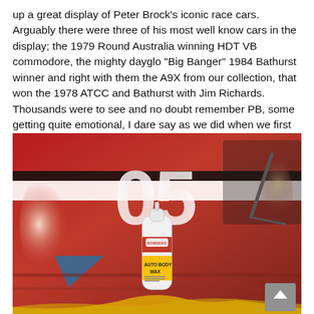up a great display of Peter Brock's iconic race cars. Arguably there were three of his most well know cars in the display; the 1979 Round Australia winning HDT VB commodore, the mighty dayglo "Big Banger" 1984 Bathurst winner and right with them the A9X from our collection, that won the 1978 ATCC and Bathurst with Jim Richards. Thousands were to see and no doubt remember PB, some getting quite emotional, I dare say as we did when we first saw them all together.
[Figure (photo): Photo of a red race car hood with the number 05 livery, with a bottle of Bowden's Auto Body Wax placed in the foreground on the car surface, and a yellow cloth nearby.]